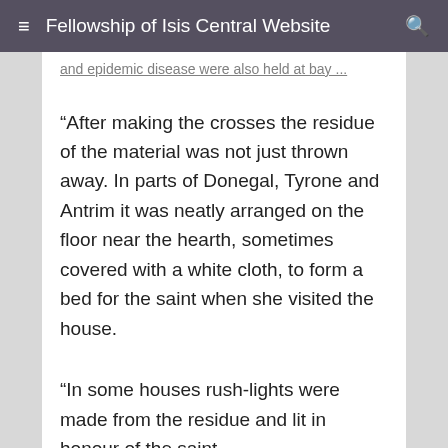Fellowship of Isis Central Website
and epidemic disease were also held at bay …
“After making the crosses the residue of the material was not just thrown away. In parts of Donegal, Tyrone and Antrim it was neatly arranged on the floor near the hearth, sometimes covered with a white cloth, to form a bed for the saint when she visited the house.
“In some houses rush-lights were made from the residue and lit in honour of the saint.